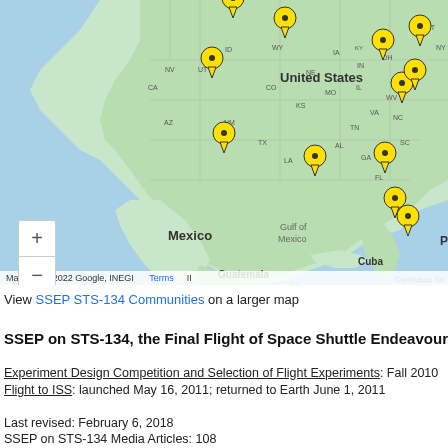[Figure (map): Google My Maps screenshot showing SSEP STS-134 Communities locations across the United States, with yellow map pins marking various community locations. Map shows USA, Mexico, Gulf of Mexico, Cuba, Guatemala, Nicaragua, and Caribbean Sea. Includes zoom controls (+/-) and Google My Maps branding. Map data ©2022 Google, INEGI.]
Map data ©2022 Google, INEGI   Terms   II
View SSEP STS-134 Communities on a larger map
SSEP on STS-134, the Final Flight of Space Shuttle Endeavour
Experiment Design Competition and Selection of Flight Experiments: Fall 2010
Flight to ISS: launched May 16, 2011; returned to Earth June 1, 2011
Last revised: February 6, 2018
SSEP on STS-134 Media Articles: 108